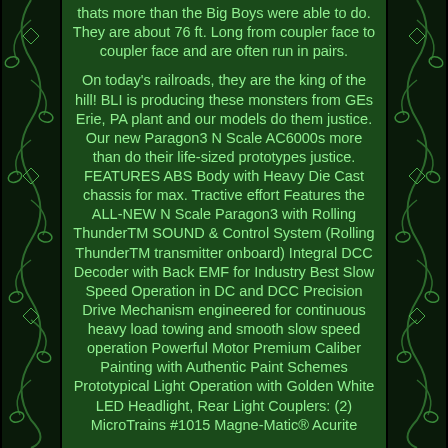thats more than the Big Boys were able to do. They are about 76 ft. Long from coupler face to coupler face and are often run in pairs.

On today's railroads, they are the king of the hill! BLI is producing these monsters from GEs Erie, PA plant and our models do them justice. Our new Paragon3 N Scale AC6000s more than do their life-sized prototypes justice. FEATURES ABS Body with Heavy Die Cast chassis for max. Tractive effort Features the ALL-NEW N Scale Paragon3 with Rolling ThunderTM SOUND & Control System (Rolling ThunderTM transmitter onboard) Integral DCC Decoder with Back EMF for Industry Best Slow Speed Operation in DC and DCC Precision Drive Mechanism engineered for continuous heavy load towing and smooth slow speed operation Powerful Motor Premium Caliber Painting with Authentic Paint Schemes Prototypical Light Operation with Golden White LED Headlight, Rear Light Couplers: (2) MicroTrains #1015 Magne-Matic® Acurite